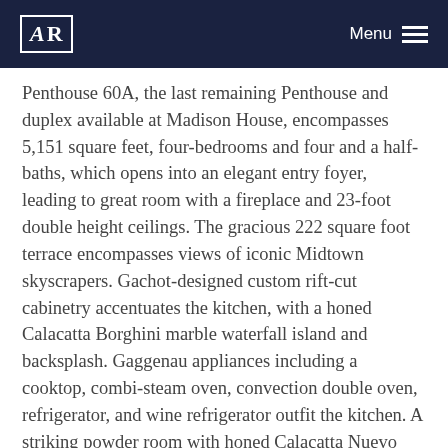AR | Menu
Penthouse 60A, the last remaining Penthouse and duplex available at Madison House, encompasses 5,151 square feet, four-bedrooms and four and a half-baths, which opens into an elegant entry foyer, leading to great room with a fireplace and 23-foot double height ceilings. The gracious 222 square foot terrace encompasses views of iconic Midtown skyscrapers. Gachot-designed custom rift-cut cabinetry accentuates the kitchen, with a honed Calacatta Borghini marble waterfall island and backsplash. Gaggenau appliances including a cooktop, combi-steam oven, convection double oven, refrigerator, and wine refrigerator outfit the kitchen. A striking powder room with honed Calacatta Nuevo and Absolute black marble walls complemented by a Gachot-designed custom vanity with Dornbracht fixtures is situated throughout the rest of...